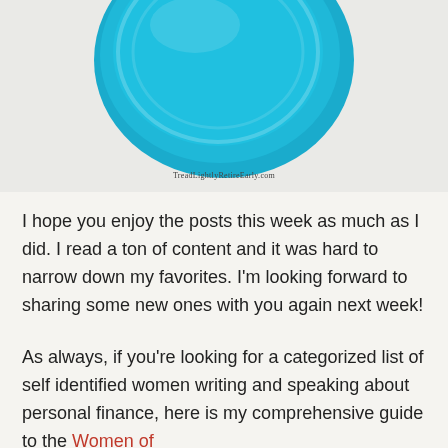[Figure (photo): Teal/turquoise ceramic plate or disc photographed from above on a light gray textured background, with watermark text 'TreadLightlyRetireEarly.com' at the bottom of the image]
TreadLightlyRetireEarly.com
I hope you enjoy the posts this week as much as I did. I read a ton of content and it was hard to narrow down my favorites. I'm looking forward to sharing some new ones with you again next week!
As always, if you're looking for a categorized list of self identified women writing and speaking about personal finance, here is my comprehensive guide to the Women of